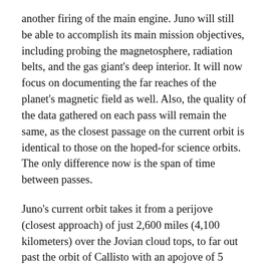another firing of the main engine. Juno will still be able to accomplish its main mission objectives, including probing the magnetosphere, radiation belts, and the gas giant's deep interior. It will now focus on documenting the far reaches of the planet's magnetic field as well. Also, the quality of the data gathered on each pass will remain the same, as the closest passage on the current orbit is identical to those on the hoped-for science orbits. The only difference now is the span of time between passes.
Juno's current orbit takes it from a perijove (closest approach) of just 2,600 miles (4,100 kilometers) over the Jovian cloud tops, to far out past the orbit of Callisto with an apojove of 5 million miles (8.1 million kilometers) distant.
Juno has completed four orbits of Jupiter thus far, giving us some amazing never-before-seen views of the planet's polar regions, and we're expecting to see some of the first science papers using this data in the coming months. Citizen scientists are also making good use of images provided by JunoCam, presenting us with some compelling views...